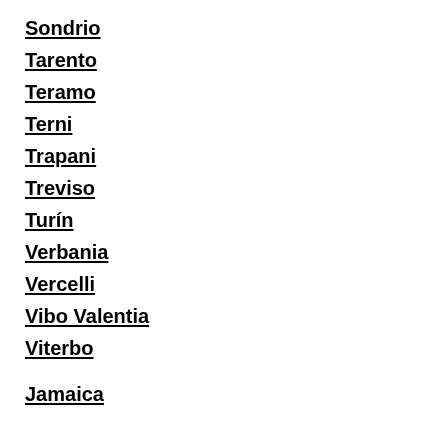Sondrio
Tarento
Teramo
Terni
Trapani
Treviso
Turín
Verbania
Vercelli
Vibo Valentia
Viterbo
Jamaica